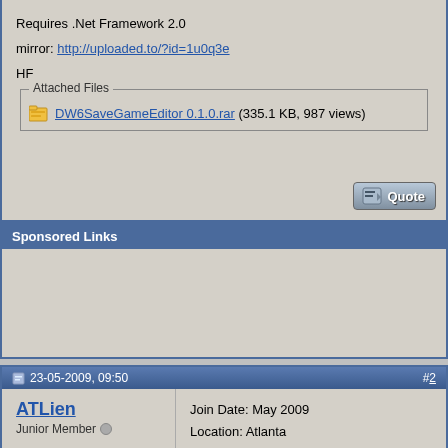Requires .Net Framework 2.0
mirror: http://uploaded.to/?id=1u0q3e
HF
DW6SaveGameEditor 0.1.0.rar (335.1 KB, 987 views)
Sponsored Links
23-05-2009, 09:50   #2
ATLien
Junior Member
Join Date: May 2009
Location: Atlanta
Posts: 1
Thanks: 0
Thanked 0 Times in 0 Posts